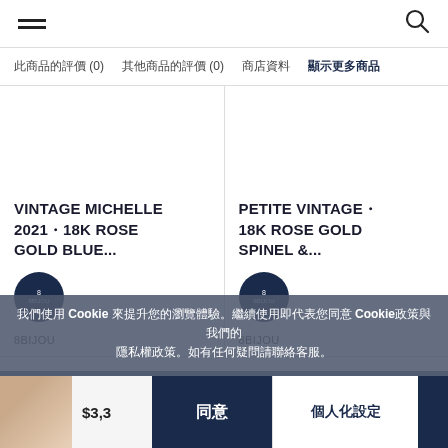Navigation header with hamburger menu and search icon
此商品的評價 (0)  其他商品的評價 (0)  商店資料  顯示更多商品
[Figure (screenshot): Two product cards for 8BIJOU jewelry. Left: VINTAGE MICHELLE 2021・18K ROSE GOLD BLUE... Right: PETITE VINTAGE・18K ROSE GOLD SPINEL &...]
我們使用 Cookie 來提升您的瀏覽體驗。繼續使用即代表您同意 Cookie政策與我們的 隱私權政策。如有任何疑問請聯絡客服。
$2,380.00   $2,000.00
同意  個人化設定